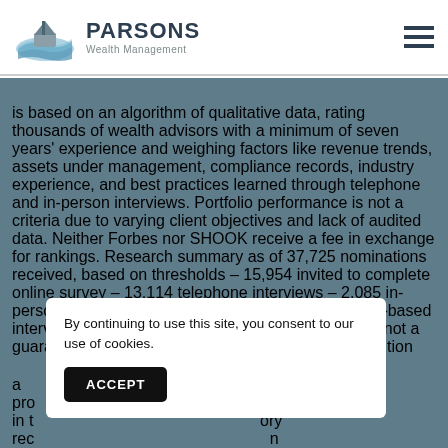PARSONS Wealth Management
is based on an algorithm of qualitative data, rating thousands of wealth advisors with a minimum of seven years' experience and weighing factors like revenue trends, assets under management, compliance records, industry experience, and best practices learned through telephone and in-person interviews. Portfolio performance is not a criteria due to varying client objectives and lack of audited data. Neither Forbes nor SHOOK receive a fee in exchange for rankings. Research summary as of 37,725 nominations received, based on thresholds – 15,954 invited to complete online survey – 13,114 telephone interviews – 2,085 in-person interviews at Advisor's location, and 619 web-based interviews. Listing in this publication and/or award is not a guarantee of future investment success. This recognition should not be construed as an endorsement of the advisor by any client. Barron's Magazine Hall of Fame Inductee – Ron Carson, October 20, 2014 issue. Advisors inducted into the Hall of Fame include those who were recipients of the Barron's Top 100 Independent Ad
By continuing to use this site, you consent to our use of cookies.
ACCEPT